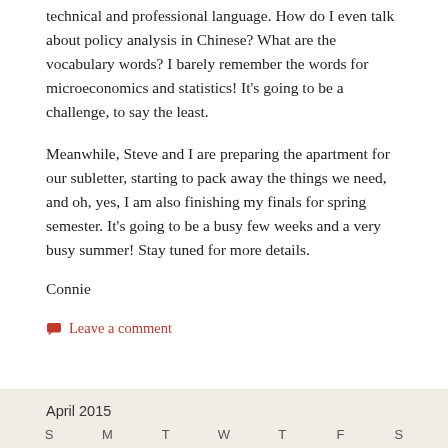technical and professional language. How do I even talk about policy analysis in Chinese? What are the vocabulary words? I barely remember the words for microeconomics and statistics! It's going to be a challenge, to say the least.
Meanwhile, Steve and I are preparing the apartment for our subletter, starting to pack away the things we need, and oh, yes, I am also finishing my finals for spring semester. It's going to be a busy few weeks and a very busy summer! Stay tuned for more details.
Connie
Leave a comment
April 2015
S M T W T F S